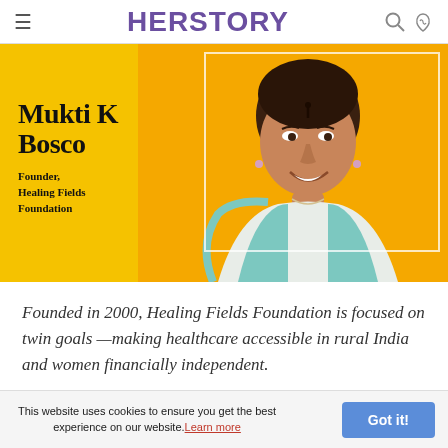HERSTORY
[Figure (photo): Portrait photo of Mukti K Bosco, Founder of Healing Fields Foundation, smiling against a yellow background. Text overlay on yellow panel reads 'Mukti K Bosco, Founder, Healing Fields Foundation'.]
Founded in 2000, Healing Fields Foundation is focused on twin goals —making healthcare accessible in rural India and women financially independent.
This website uses cookies to ensure you get the best experience on our website. Learn more